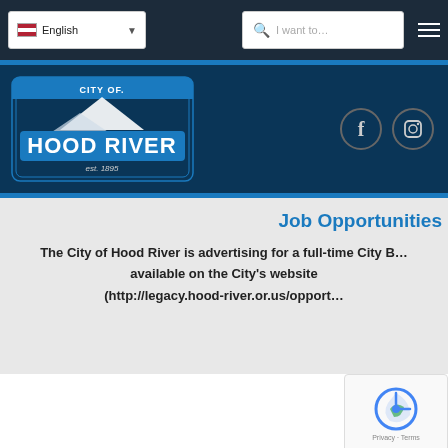[Figure (screenshot): Top navigation bar with English language selector, search bar 'I want to...', and hamburger menu icon on dark navy background]
[Figure (logo): City of Hood River logo with mountain illustration, est. 1895, on dark navy background with Facebook and Instagram social icons]
Job Opportunities
The City of Hood River is advertising for a full-time City B... available on the City's website (http://legacy.hood-river.or.us/opport...
[Figure (other): reCAPTCHA widget with Privacy and Terms links]
IN THIS ISSUE